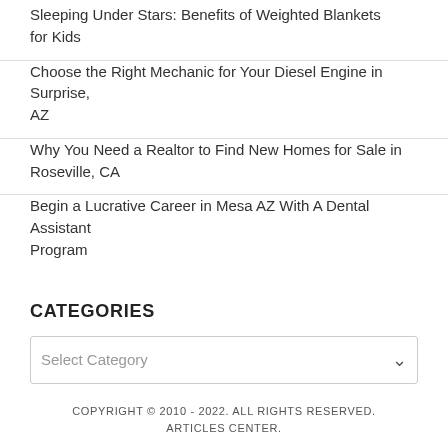Sleeping Under Stars: Benefits of Weighted Blankets for Kids
Choose the Right Mechanic for Your Diesel Engine in Surprise, AZ
Why You Need a Realtor to Find New Homes for Sale in Roseville, CA
Begin a Lucrative Career in Mesa AZ With A Dental Assistant Program
CATEGORIES
Select Category
COPYRIGHT © 2010 - 2022. ALL RIGHTS RESERVED. ARTICLES CENTER.